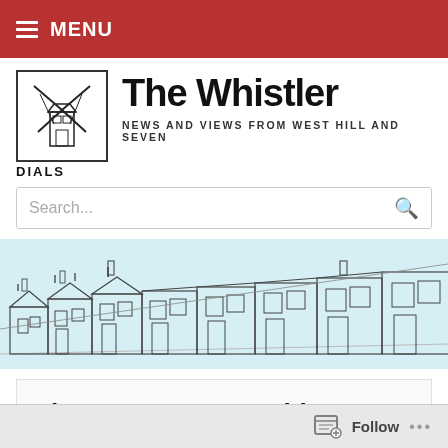≡ MENU
The Whistler
NEWS AND VIEWS FROM WEST HILL AND SEVEN DIALS
[Figure (illustration): Black and white sketch of a windmill/lighthouse logo inside a square border]
[Figure (illustration): Watercolor and pencil sketch illustration of a row of Victorian terraced houses with a light blue sky]
The Karavan Ensemble
( LEAVE A COMMENT )
Follow ...